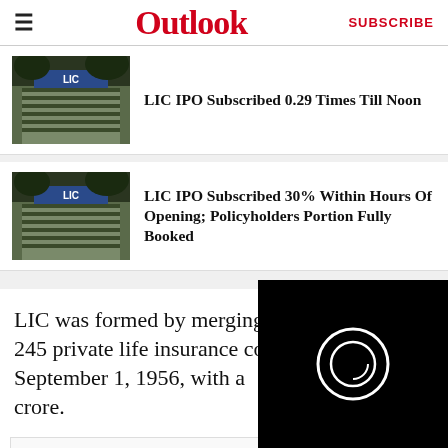Outlook | SUBSCRIBE
LIC IPO Subscribed 0.29 Times Till Noon
LIC IPO Subscribed 30% Within Hours Of Opening; Policyholders Portion Fully Booked
LIC was formed by merging and nationalising 245 private life insurance companies on September 1, 1956, with a [capital of 5] crore.
ADVERTIS[EMENT]